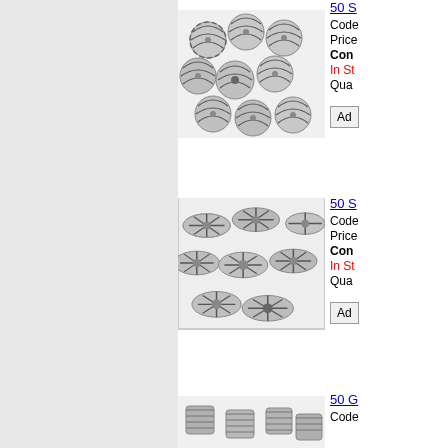[Figure (photo): Pile of silver spiral-striped round metal beads on white background]
50 S
Code
Price
Cont
In St
Qua
[Figure (photo): Group of silver flat flower/daisy shaped bead caps with radial stripe pattern on white background]
50 S
Code
Price
Cont
In St
Qua
[Figure (photo): Silver patterned cube/rectangular metal beads on white background (partially visible)]
50 G
Code